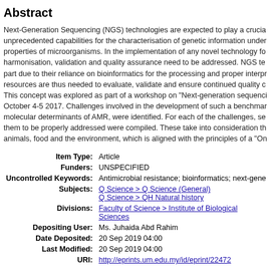Abstract
Next-Generation Sequencing (NGS) technologies are expected to play a crucial role with unprecedented capabilities for the characterisation of genetic information underlying properties of microorganisms. In the implementation of any novel technology for harmonisation, validation and quality assurance need to be addressed. NGS technologies, in part due to their reliance on bioinformatics for the processing and proper interpretation, resources are thus needed to evaluate, validate and ensure continued quality control. This concept was explored as part of a workshop on "Next-generation sequencing" held October 4-5 2017. Challenges involved in the development of such a benchmark study for molecular determinants of AMR, were identified. For each of the challenges, sets of actions for them to be properly addressed were compiled. These take into consideration the sectors of animals, food and the environment, which is aligned with the principles of a "On...
| Field | Value |
| --- | --- |
| Item Type: | Article |
| Funders: | UNSPECIFIED |
| Uncontrolled Keywords: | Antimicrobial resistance; bioinformatics; next-gene... |
| Subjects: | Q Science > Q Science (General)
Q Science > QH Natural history |
| Divisions: | Faculty of Science > Institute of Biological Sciences |
| Depositing User: | Ms. Juhaida Abd Rahim |
| Date Deposited: | 20 Sep 2019 04:00 |
| Last Modified: | 20 Sep 2019 04:00 |
| URI: | http://eprints.um.edu.my/id/eprint/22472 |